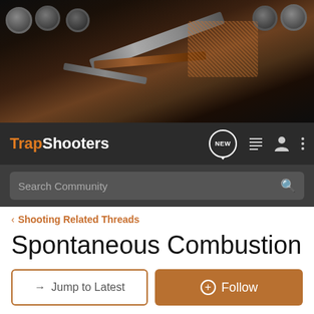[Figure (photo): Dark background hero image showing shotgun shells, ammunition, and what appears to be firearms/knives — header banner for TrapShooters forum]
[Figure (screenshot): Navigation bar with TrapShooters logo, NEW chat bubble icon, list icon, person icon, and three-dot menu icon]
[Figure (screenshot): Dark search bar with 'Search Community' placeholder text and magnifying glass icon]
< Shooting Related Threads
Spontaneous Combustion
→ Jump to Latest
+ Follow
Not open for further replies.
1 - 11 of 11 Posts